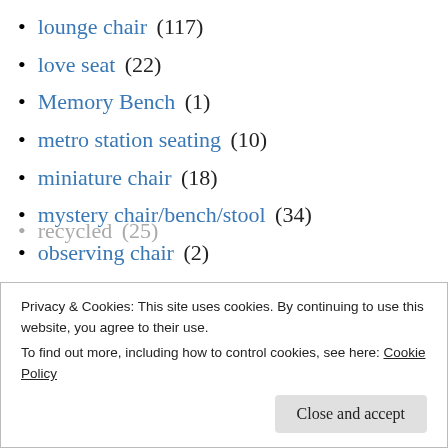lounge chair (117)
love seat (22)
Memory Bench (1)
metro station seating (10)
miniature chair (18)
mystery chair/bench/stool (34)
observing chair (2)
office chair (8)
ottoman (3)
pod chair (1)
porter's chair (15)
Privacy & Cookies: This site uses cookies. By continuing to use this website, you agree to their use.
To find out more, including how to control cookies, see here: Cookie Policy
Close and accept
recycled (25)